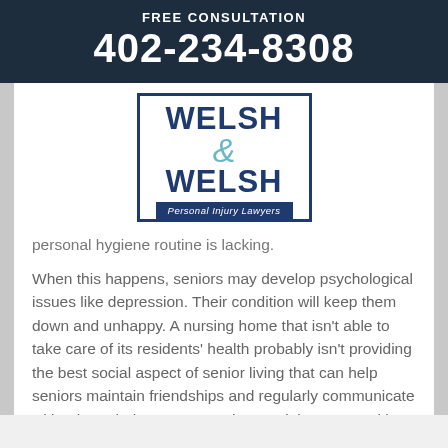FREE CONSULTATION
402-234-8308
[Figure (logo): Welsh & Welsh Personal Injury Lawyers logo with dark blue border and teal ampersand]
personal hygiene routine is lacking.
When this happens, seniors may develop psychological issues like depression. Their condition will keep them down and unhappy. A nursing home that isn't able to take care of its residents' health probably isn't providing the best social aspect of senior living that can help seniors maintain friendships and regularly communicate with others their own age. Being stuck in a room without any kind of social interaction is isolating and can also lead to depression.